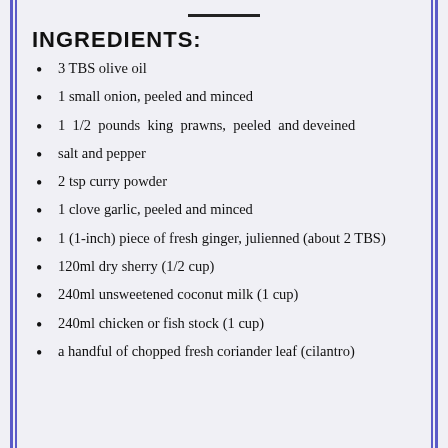INGREDIENTS:
3 TBS olive oil
1 small onion, peeled and minced
1  1/2  pounds  king  prawns,  peeled  and deveined
salt and pepper
2 tsp curry powder
1 clove garlic, peeled and minced
1 (1-inch) piece of fresh ginger, julienned (about 2 TBS)
120ml dry sherry (1/2 cup)
240ml unsweetened coconut milk (1 cup)
240ml chicken or fish stock (1 cup)
a handful of chopped fresh coriander leaf (cilantro)